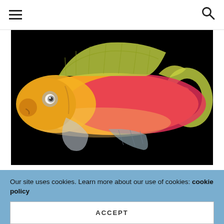Navigation menu and search icon
[Figure (photo): A colorful splitfin anthias fish (Luzonichthys seaver) photographed against a black background. The fish displays vivid yellow-orange coloring on the head and front body transitioning to bright pink/red on the rear body, with yellow-green fins including a prominent dorsal fin and forked tail fin.]
NEW SPECIES
New splitfin anthias species, Luzonichthys seaver
Our site uses cookies. Learn more about our use of cookies: cookie policy
ACCEPT